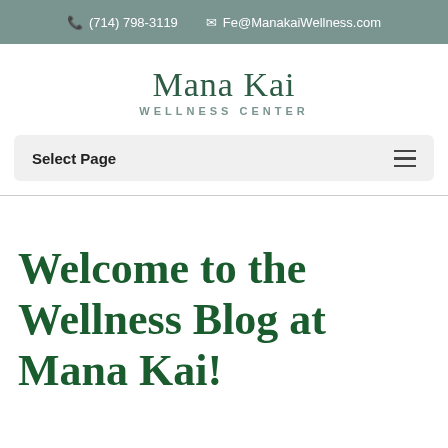(714) 798-3119  Fe@ManakaiWellness.com
Mana Kai WELLNESS CENTER
Select Page
Welcome to the Wellness Blog at Mana Kai!